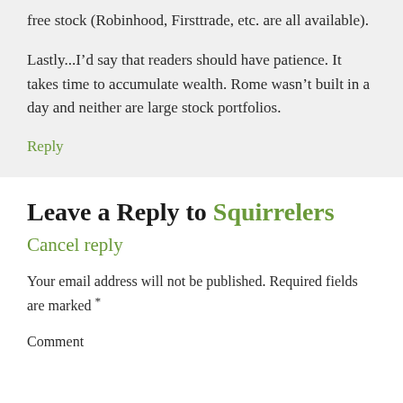free stock (Robinhood, Firsttrade, etc. are all available).
Lastly...I’d say that readers should have patience. It takes time to accumulate wealth. Rome wasn’t built in a day and neither are large stock portfolios.
Reply
Leave a Reply to Squirrelers Cancel reply
Your email address will not be published. Required fields are marked *
Comment